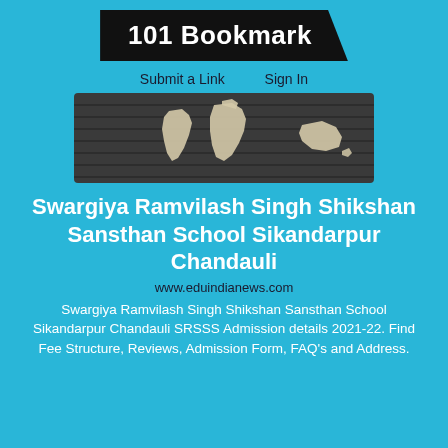101 Bookmark
Submit a Link    Sign In
[Figure (illustration): Dark background banner with world map continents in light beige/white, horizontal striped dark panel]
Swargiya Ramvilash Singh Shikshan Sansthan School Sikandarpur Chandauli
www.eduindianews.com
Swargiya Ramvilash Singh Shikshan Sansthan School Sikandarpur Chandauli SRSSS Admission details 2021-22. Find Fee Structure, Reviews, Admission Form, FAQ's and Address.